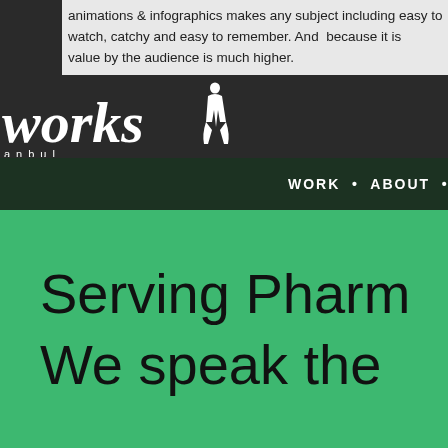animations & infographics makes any subject including easy to watch, catchy and easy to remember. And because it is value by the audience is much higher.
[Figure (logo): Frameorks Istanbul logo with stylized italic 'works' text and a silhouette of a human figure, with navigation bar showing WORK • ABOUT • SERVICES •]
Serving Pharm... We speak the...